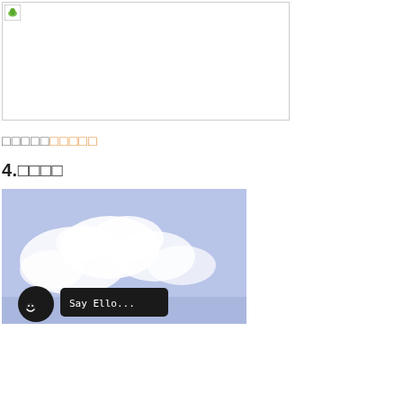[Figure (illustration): White rectangle with a small green leaf/image icon in the top-left corner, bordered by a thin gray line]
□□□□□□□□□□
4.□□□□
[Figure (photo): Photo of a blue sky with white clouds; in the lower-left area there is a dark circular chat button icon and a dark speech bubble with white text saying 'Say Ello...']